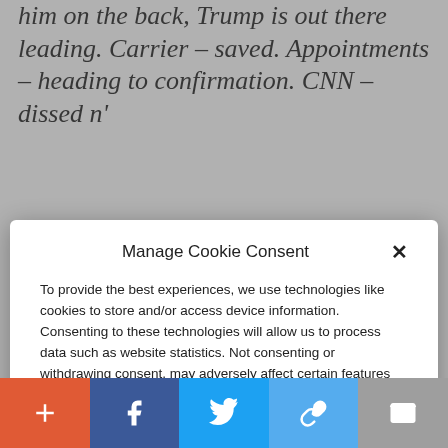him on the back, Trump is out there leading. Carrier – saved. Appointments – heading to confirmation. CNN – dissed n'
Manage Cookie Consent
To provide the best experiences, we use technologies like cookies to store and/or access device information. Consenting to these technologies will allow us to process data such as website statistics. Not consenting or withdrawing consent, may adversely affect certain features and functions.
Accept
Cookie Policy   Privacy Policy
the country in two. His legacy of failure and his contempt for normal Americans has